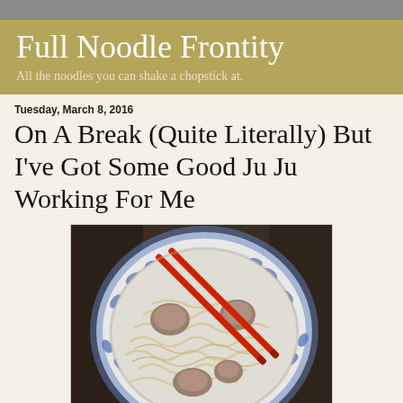Full Noodle Frontity
All the noodles you can shake a chopstick at.
Tuesday, March 8, 2016
On A Break (Quite Literally) But I've Got Some Good Ju Ju Working For Me
[Figure (photo): Overhead view of a bowl of noodle soup with meat pieces in a blue and white floral ceramic bowl, with red chopsticks resting across the bowl on a dark wooden table surface.]